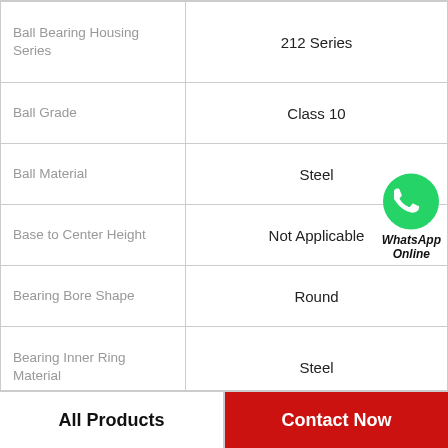| Property | Value |
| --- | --- |
| Ball Bearing Housing Series | 212 Series |
| Ball Grade | Class 10 |
| Ball Material | Steel |
| Base to Center Height | Not Applicable |
| Bearing Bore Shape | Round |
| Bearing Inner Ring Material | Steel |
| Bearing Insert Material | Steel |
All Products   Contact Now